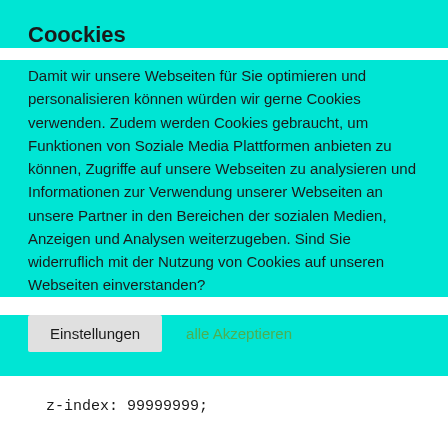Coockies
Damit wir unsere Webseiten für Sie optimieren und personalisieren können würden wir gerne Cookies verwenden. Zudem werden Cookies gebraucht, um Funktionen von Soziale Media Plattformen anbieten zu können, Zugriffe auf unsere Webseiten zu analysieren und Informationen zur Verwendung unserer Webseiten an unsere Partner in den Bereichen der sozialen Medien, Anzeigen und Analysen weiterzugeben. Sind Sie widerruflich mit der Nutzung von Cookies auf unseren Webseiten einverstanden?
Einstellungen   alle Akzeptieren
z-index: 99999999;
}

.notifyjs-corner .notifyjs-wrapper,
.notifyjs-corner .notifyjs-container {